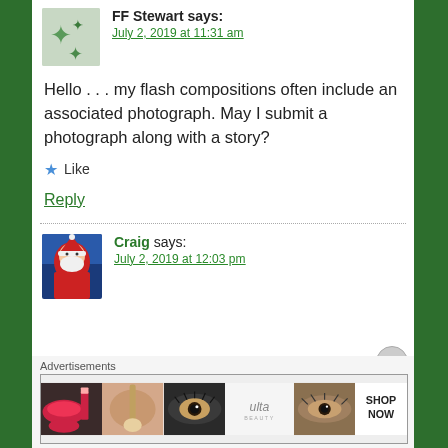FF Stewart says:
July 2, 2019 at 11:31 am
Hello . . . my flash compositions often include an associated photograph. May I submit a photograph along with a story?
Like
Reply
Craig says:
July 2, 2019 at 12:03 pm
Advertisements
[Figure (infographic): Advertisement banner showing makeup/beauty products with ULTA branding and SHOP NOW text]